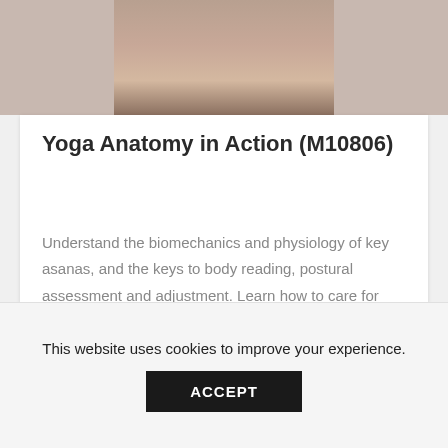[Figure (photo): Partial photo of a person doing yoga on a wooden floor, cropped to show only the top portion]
Yoga Anatomy in Action (M10806)
Understand the biomechanics and physiology of key asanas, and the keys to body reading, postural assessment and adjustment. Learn how to care for joints and promote spinal alignment in your own body with your personal yoga practice and how to help others do the same.
This website uses cookies to improve your experience.